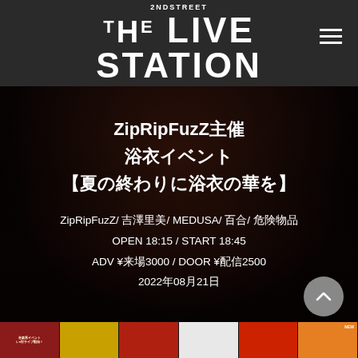2NDSTREET THE LIVE STATION
ZipRipFuzZ主催
浴衣イベント
【夏の終わりに浴衣の華を】
ZipRipFuzZ/ 吉澤里美/ MEDUSA/ 百合/ 危険物品
OPEN 18:15 / START 18:45
ADV ¥来場3000 / DOOR ¥配信2500
2022年08月21日
[Figure (photo): Bottom thumbnail strip showing event/concert promotional images]